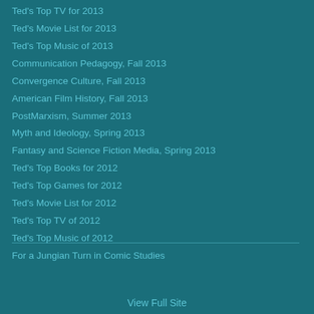Ted's Top TV for 2013
Ted's Movie List for 2013
Ted's Top Music of 2013
Communication Pedagogy, Fall 2013
Convergence Culture, Fall 2013
American Film History, Fall 2013
PostMarxism, Summer 2013
Myth and Ideology, Spring 2013
Fantasy and Science Fiction Media, Spring 2013
Ted's Top Books for 2012
Ted's Top Games for 2012
Ted's Movie List for 2012
Ted's Top TV of 2012
Ted's Top Music of 2012
For a Jungian Turn in Comic Studies
View Full Site